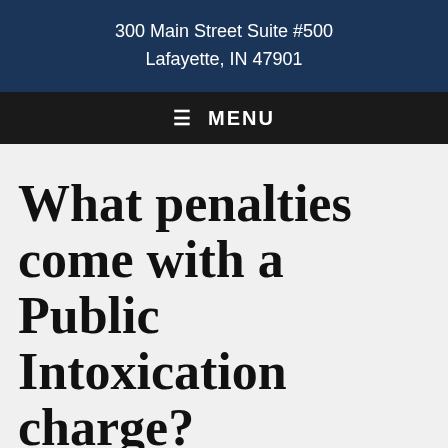300 Main Street Suite #500
Lafayette, IN 47901
≡ MENU
What penalties come with a Public Intoxication charge?
Mar 30, 2016